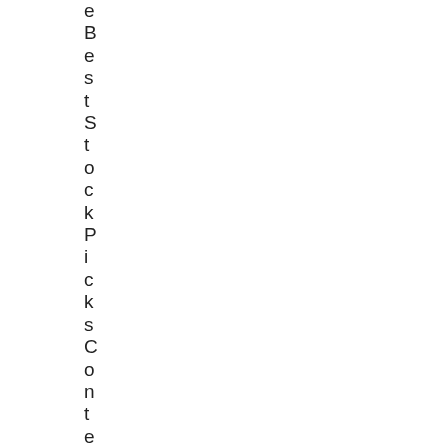eBestStockPicksContest for 2014